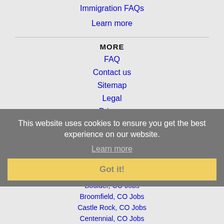Immigration FAQs
Learn more
MORE
FAQ
Contact us
Sitemap
Legal
Privacy
This website uses cookies to ensure you get the best experience on our website.
Learn more
Got it!
NEARBY CITIES
Arvada, CO Jobs
Aurora, CO Jobs
Boulder, CO Jobs
Broomfield, CO Jobs
Castle Rock, CO Jobs
Centennial, CO Jobs